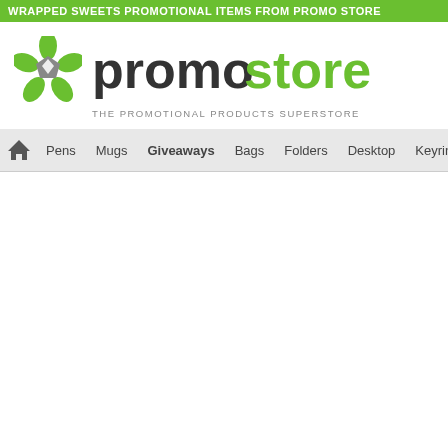WRAPPED SWEETS PROMOTIONAL ITEMS FROM PROMO STORE
[Figure (logo): Promostore logo — green pentagon/star icon with grey centre, bold text 'promo' in dark grey and 'store' in green, tagline 'THE PROMOTIONAL PRODUCTS SUPERSTORE']
Pens | Mugs | Giveaways | Bags | Folders | Desktop | Keyrings